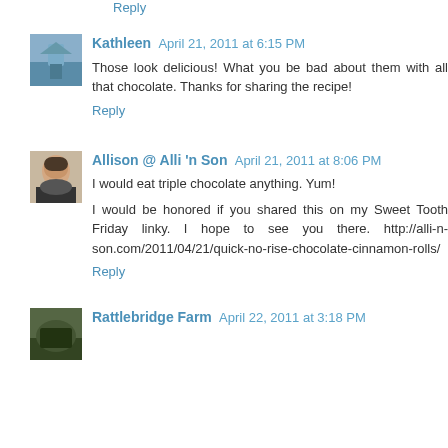Reply
Kathleen  April 21, 2011 at 6:15 PM
Those look delicious! What you be bad about them with all that chocolate. Thanks for sharing the recipe!
Reply
Allison @ Alli 'n Son  April 21, 2011 at 8:06 PM
I would eat triple chocolate anything. Yum!
I would be honored if you shared this on my Sweet Tooth Friday linky. I hope to see you there. http://alli-n-son.com/2011/04/21/quick-no-rise-chocolate-cinnamon-rolls/
Reply
Rattlebridge Farm  April 22, 2011 at 3:18 PM